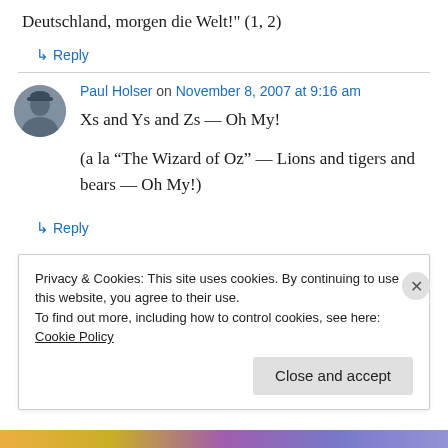Deutschland, morgen die Welt!" (1, 2)
↳ Reply
Paul Holser on November 8, 2007 at 9:16 am
Xs and Ys and Zs — Oh My!
(a la “The Wizard of Oz” — Lions and tigers and bears — Oh My!)
↳ Reply
Privacy & Cookies: This site uses cookies. By continuing to use this website, you agree to their use.
To find out more, including how to control cookies, see here: Cookie Policy
Close and accept